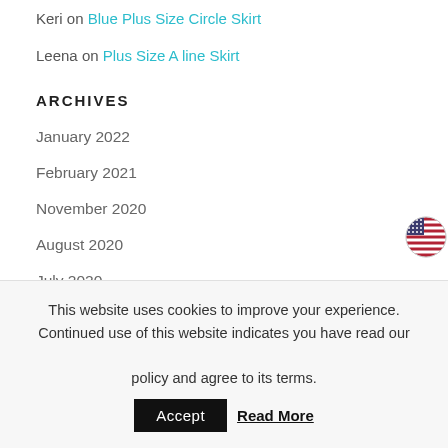Keri on Blue Plus Size Circle Skirt
Leena on Plus Size A line Skirt
ARCHIVES
January 2022
February 2021
November 2020
August 2020
July 2020
June 2020
April 2020
[Figure (illustration): US flag circular icon in top right corner]
This website uses cookies to improve your experience. Continued use of this website indicates you have read our policy and agree to its terms. Accept Read More